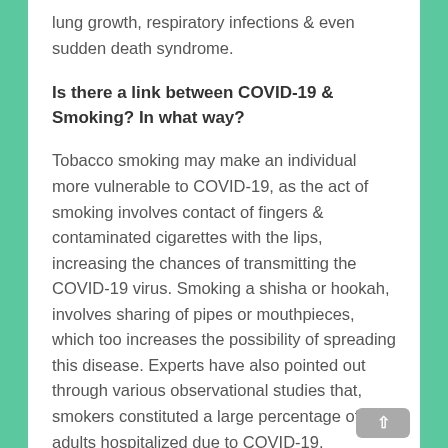lung growth, respiratory infections & even sudden death syndrome.
Is there a link between COVID-19 & Smoking? In what way?
Tobacco smoking may make an individual more vulnerable to COVID-19, as the act of smoking involves contact of fingers & contaminated cigarettes with the lips, increasing the chances of transmitting the COVID-19 virus. Smoking a shisha or hookah, involves sharing of pipes or mouthpieces, which too increases the possibility of spreading this disease. Experts have also pointed out through various observational studies that, smokers constituted a large percentage of adults hospitalized due to COVID-19.
The Benefits of QUITTING Smoking Are Many, Here Are Some of Them...
The day you decide to stub the butt & continue doing